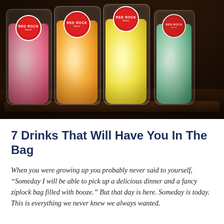[Figure (photo): Photo of four colorful frozen/slushy drinks in clear plastic pouches (red/pink, orange, yellow, green) branded with 'RED ROCK' circular red labels, sitting on a dark wooden tray against a dark background.]
7 Drinks That Will Have You In The Bag
When you were growing up you probably never said to yourself, “Someday I will be able to pick up a delicious dinner and a fancy ziplock bag filled with booze.” But that day is here. Someday is today. This is everything we never knew we always wanted.